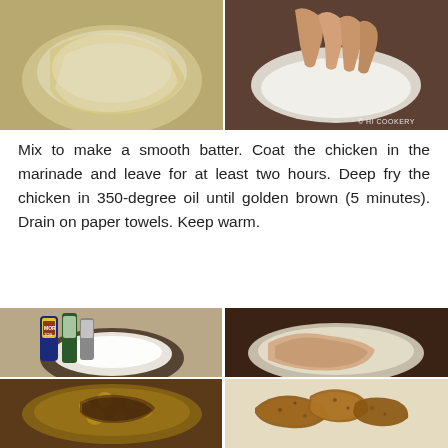[Figure (photo): Two food preparation photos side by side: left shows a bowl with yellow/cream batter mix, right shows a hand dipping something into a white creamy mixture in a bowl with watermark '© HI COOKERY']
Mix to make a smooth batter. Coat the chicken in the marinade and leave for at least two hours. Deep fry the chicken in 350-degree oil until golden brown (5 minutes). Drain on paper towels. Keep warm.
[Figure (photo): Four food preparation photos in a 2x2 grid: top-left shows Morton salt and seasoning bottles with a bowl of white flour/mixture, top-right shows raw chicken breast in a pale batter/marinade on a plate, bottom-left shows chicken frying in oil with bubbles, bottom-right shows golden brown fried chicken pieces draining on paper towels]